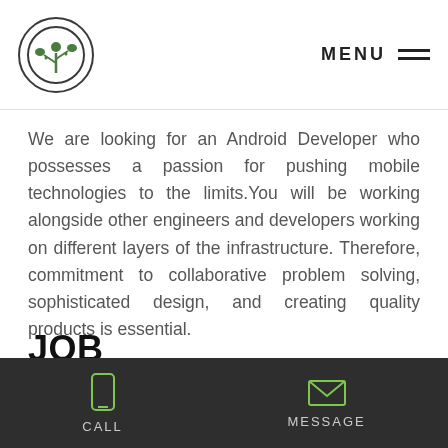Logo | MENU
We are looking for an Android Developer who possesses a passion for pushing mobile technologies to the limits.You will be working alongside other engineers and developers working on different layers of the infrastructure. Therefore, commitment to collaborative problem solving, sophisticated design, and creating quality products is essential.
JOB RESPONSIBILITIES
CALL | MESSAGE